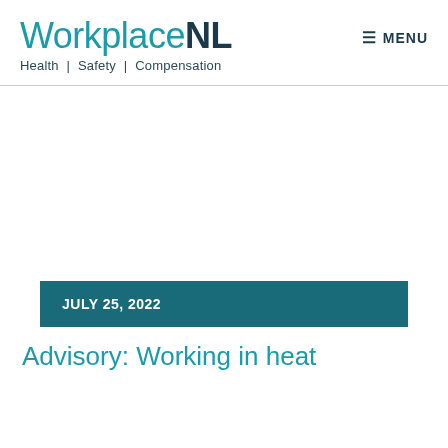WorkplaceNL — Health | Safety | Compensation — MENU
JULY 25, 2022
Advisory: Working in heat